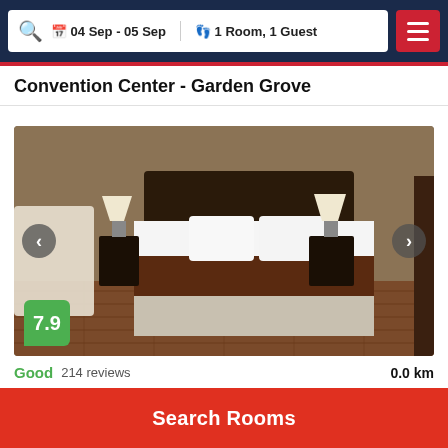04 Sep - 05 Sep  1 Room, 1 Guest
Convention Center - Garden Grove
[Figure (photo): Hotel room with two beds with brown/white bedding, dark wood headboard, nightstands with lamps, hardwood floor. Shows a score badge of 7.9 in green, left and right navigation arrows.]
Good   214 reviews   0.0 km
Americas Best Value Inn & Suites Anaheim
Search Rooms